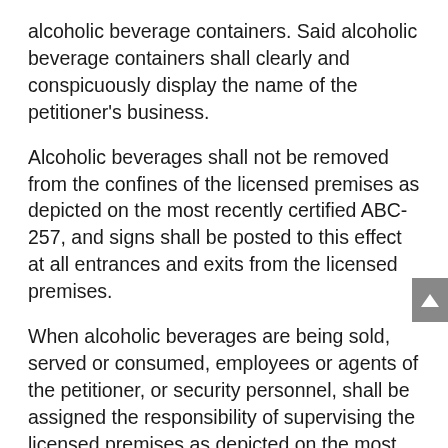alcoholic beverage containers. Said alcoholic beverage containers shall clearly and conspicuously display the name of the petitioner's business.
Alcoholic beverages shall not be removed from the confines of the licensed premises as depicted on the most recently certified ABC-257, and signs shall be posted to this effect at all entrances and exits from the licensed premises.
When alcoholic beverages are being sold, served or consumed, employees or agents of the petitioner, or security personnel, shall be assigned the responsibility of supervising the licensed premises as depicted on the most recently certified ABC-257. The petitioner shall be held accountable for any violations that occur in this area.
Sales of beer, wine and soju shall be made in single